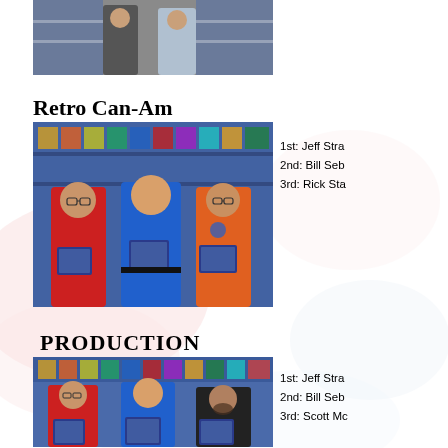[Figure (photo): Partial photo at top of page showing two people standing in a store with shelves of products in the background]
Retro Can-Am
[Figure (photo): Three men standing side by side in a store holding framed photos/plaques. Left man in red shirt, middle man in blue shirt, right man in orange shirt.]
1st:  Jeff Stra
2nd: Bill Seb
3rd: Rick Sta
PRODUCTION
[Figure (photo): Three people in a store, left man in red shirt, middle person in blue shirt, right person in dark shirt holding a framed item.]
1st:  Jeff Stra
2nd: Bill Seb
3rd: Scott Mc